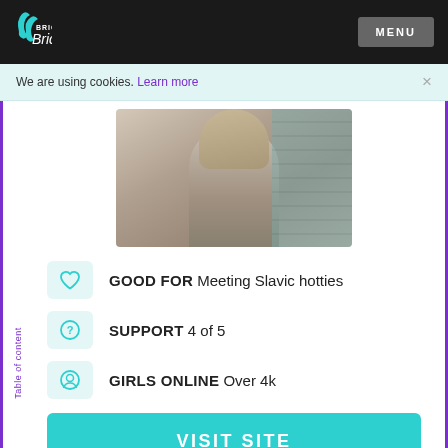Bright Brides | MENU
We are using cookies. Learn more
[Figure (photo): Young woman with long blonde hair posing with hand near face, wearing a light grey top, blurred teal background]
GOOD FOR Meeting Slavic hotties
SUPPORT 4 of 5
GIRLS ONLINE Over 4k
VISIT SITE
Read full review
Table of content